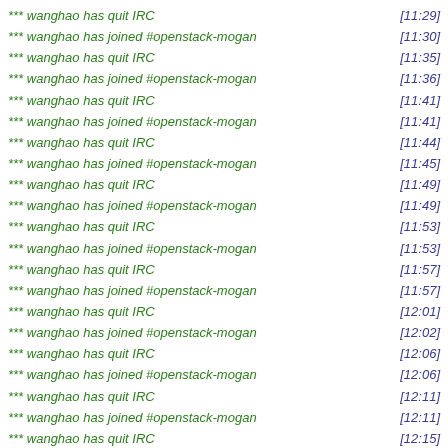*** wanghao has quit IRC [11:29]
*** wanghao has joined #openstack-mogan [11:30]
*** wanghao has quit IRC [11:35]
*** wanghao has joined #openstack-mogan [11:36]
*** wanghao has quit IRC [11:41]
*** wanghao has joined #openstack-mogan [11:41]
*** wanghao has quit IRC [11:44]
*** wanghao has joined #openstack-mogan [11:45]
*** wanghao has quit IRC [11:49]
*** wanghao has joined #openstack-mogan [11:49]
*** wanghao has quit IRC [11:53]
*** wanghao has joined #openstack-mogan [11:53]
*** wanghao has quit IRC [11:57]
*** wanghao has joined #openstack-mogan [11:57]
*** wanghao has quit IRC [12:01]
*** wanghao has joined #openstack-mogan [12:02]
*** wanghao has quit IRC [12:06]
*** wanghao has joined #openstack-mogan [12:06]
*** wanghao has quit IRC [12:11]
*** wanghao has joined #openstack-mogan [12:11]
*** wanghao has quit IRC [12:15]
*** wanghao has joined #openstack-mogan [13:35]